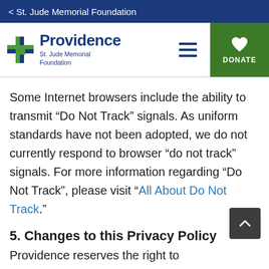< St. Jude Memorial Foundation
[Figure (logo): Providence St. Jude Memorial Foundation logo with cross icon, hamburger menu, and green DONATE button]
Some Internet browsers include the ability to transmit “Do Not Track” signals. As uniform standards have not been adopted, we do not currently respond to browser “do not track” signals. For more information regarding “Do Not Track”, please visit “All About Do Not Track.”
5. Changes to this Privacy Policy
Providence reserves the right to